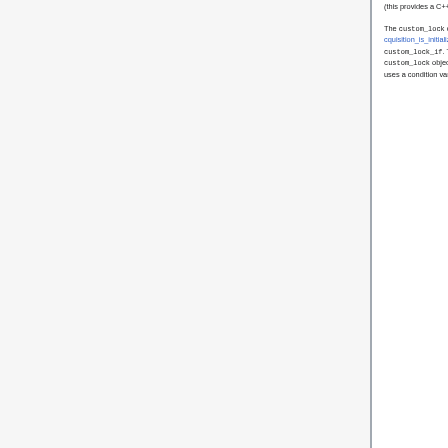`buffer` class to provide additional locking logic. The `custom_lock_if` class is an abstract class and the `buffer` class derives from it (this provides a C++-style "interface").
The `custom_lock` class implements an [RAII style] (https://en.wikipedia.org/wiki/Resource_acquisition_is_initialization) lock (similar to `std::lock_guard`) using a mutex and a pointer to an object implementing the `custom_lock_if`. The `custom_lock_if` includes two functions `on_lock()` and `on_unlock()` that are called when the created `custom_lock` object is locked (constructed) and unlocked (destructed) respectively. The `buffer` class's implementation of `on_lock()` uses a condition variable to wait until the active pointer count is zero and the callback